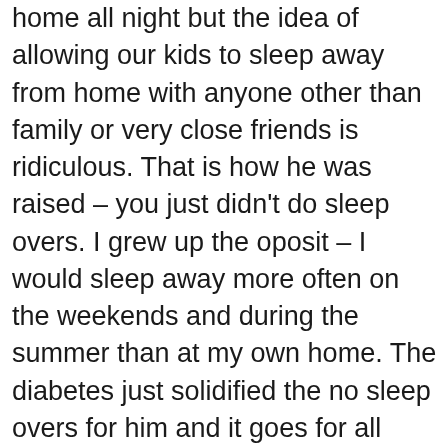home all night but the idea of allowing our kids to sleep away from home with anyone other than family or very close friends is ridiculous. That is how he was raised – you just didn't do sleep overs. I grew up the oposit – I would sleep away more often on the weekends and during the summer than at my own home. The diabetes just solidified the no sleep overs for him and it goes for all three of my kids not just the two with diabetes.
When my daughter has slept away at close friends homes I didn't ask the parents to check. She didn't eat past 10pm and called me with her numbers at midnight. I would help her decide what to do with those